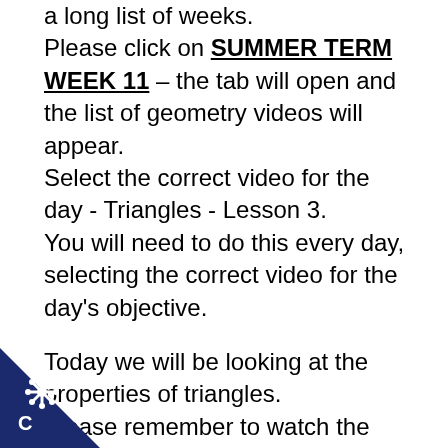a long list of weeks. Please click on SUMMER TERM WEEK 11 – the tab will open and the list of geometry videos will appear. Select the correct video for the day - Triangles - Lesson 3. You will need to do this every day, selecting the correct video for the day's objective.
Today we will be looking at the properties of triangles. Please remember to watch the video before completing the Whiterose sheet as this will help you understand the different representations and question types. If you find it straight forward, then be sure that you challenge yourself with the
[Figure (logo): Dark blue triangular corner badge with a white star/snowflake icon and letter C in bottom-left corner of page]